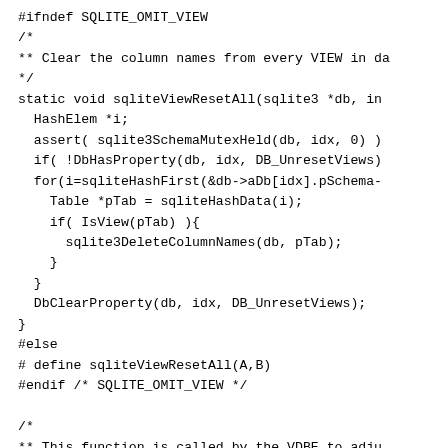#ifndef SQLITE_OMIT_VIEW
/*
** Clear the column names from every VIEW in da
*/
static void sqliteViewResetAll(sqlite3 *db, in
  HashElem *i;
  assert( sqlite3SchemaMutexHeld(db, idx, 0) )
  if( !DbHasProperty(db, idx, DB_UnresetViews)
  for(i=sqliteHashFirst(&db->aDb[idx].pSchema-
    Table *pTab = sqliteHashData(i);
    if( IsView(pTab) ){
      sqlite3DeleteColumnNames(db, pTab);
    }
  }
  DbClearProperty(db, idx, DB_UnresetViews);
}
#else
# define sqliteViewResetAll(A,B)
#endif /* SQLITE_OMIT_VIEW */

/*
** This function is called by the VDBE to adju
** used by SQLite when the btree layer moves a
** root-page of a table or index in database i
** to iTo.
**
** Ticket #1728:  The symbol table might still
** on tables and/or indices that are the proce